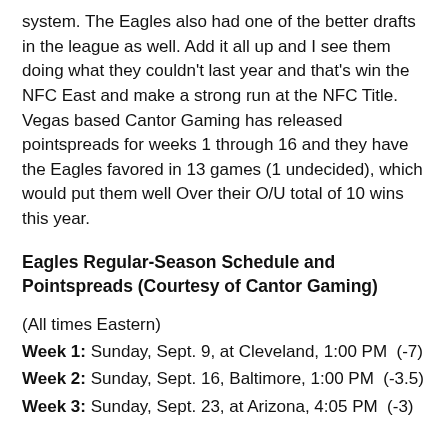system. The Eagles also had one of the better drafts in the league as well. Add it all up and I see them doing what they couldn't last year and that's win the NFC East and make a strong run at the NFC Title. Vegas based Cantor Gaming has released pointspreads for weeks 1 through 16 and they have the Eagles favored in 13 games (1 undecided), which would put them well Over their O/U total of 10 wins this year.
Eagles Regular-Season Schedule and Pointspreads (Courtesy of Cantor Gaming)
(All times Eastern)
Week 1: Sunday, Sept. 9, at Cleveland, 1:00 PM  (-7)
Week 2: Sunday, Sept. 16, Baltimore, 1:00 PM  (-3.5)
Week 3: Sunday, Sept. 23, at Arizona, 4:05 PM  (-3)